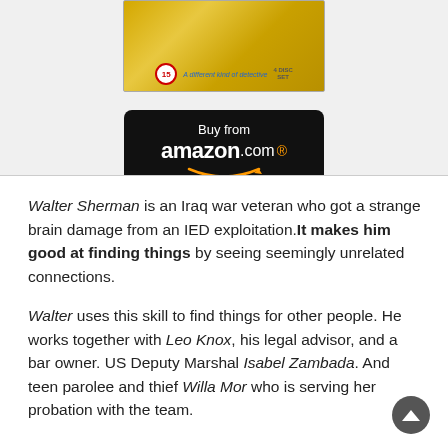[Figure (photo): DVD cover with yellow background showing a TV show, with 15 rating symbol, tagline 'A different kind of detective', and '4 DISC SET' label]
[Figure (other): Amazon.com buy button with black rounded rectangle background, showing 'Buy from amazon.com' with orange smile logo]
Walter Sherman is an Iraq war veteran who got a strange brain damage from an IED exploitation.It makes him good at finding things by seeing seemingly unrelated connections.
Walter uses this skill to find things for other people. He works together with Leo Knox, his legal advisor, and a bar owner. US Deputy Marshal Isabel Zambada. And teen parolee and thief Willa Mor who is serving her probation with the team.